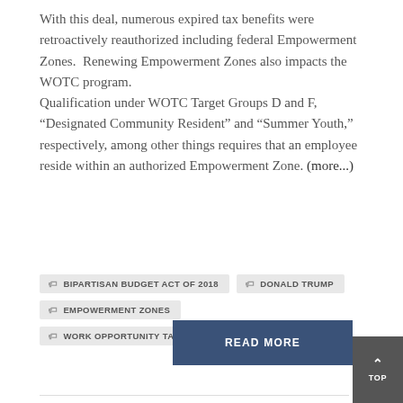With this deal, numerous expired tax benefits were retroactively reauthorized including federal Empowerment Zones.  Renewing Empowerment Zones also impacts the WOTC program. Qualification under WOTC Target Groups D and F, “Designated Community Resident” and “Summer Youth,” respectively, among other things requires that an employee reside within an authorized Empowerment Zone. (more...)
BIPARTISAN BUDGET ACT OF 2018
DONALD TRUMP
EMPOWERMENT ZONES
WORK OPPORTUNITY TAX CREDIT
WOTC
READ MORE
TOP